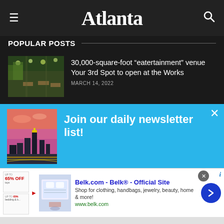Atlanta
POPULAR POSTS
30,000-square-foot “eatertainment” venue Your 3rd Spot to open at the Works
MARCH 14, 2022
[Figure (screenshot): Newsletter signup overlay with blue background saying 'Join our daily newsletter list!' with Atlanta skyline image on left]
Start your morning with us. The Daily Brief delivers
[Figure (screenshot): Advertisement for Belk.com - Belk Official Site with product thumbnails, description, and website URL]